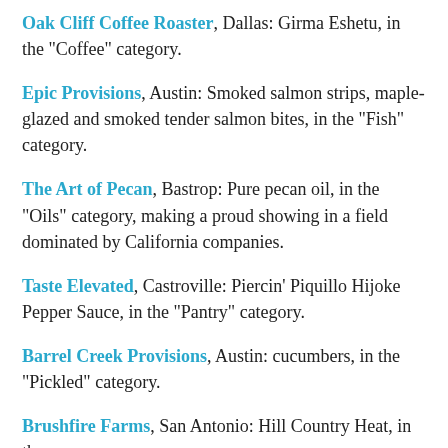Oak Cliff Coffee Roaster, Dallas: Girma Eshetu, in the "Coffee" category.
Epic Provisions, Austin: Smoked salmon strips, maple-glazed and smoked tender salmon bites, in the "Fish" category.
The Art of Pecan, Bastrop: Pure pecan oil, in the "Oils" category, making a proud showing in a field dominated by California companies.
Taste Elevated, Castroville: Piercin' Piquillo Hijoke Pepper Sauce, in the "Pantry" category.
Barrel Creek Provisions, Austin: cucumbers, in the "Pickled" category.
Brushfire Farms, San Antonio: Hill Country Heat, in the